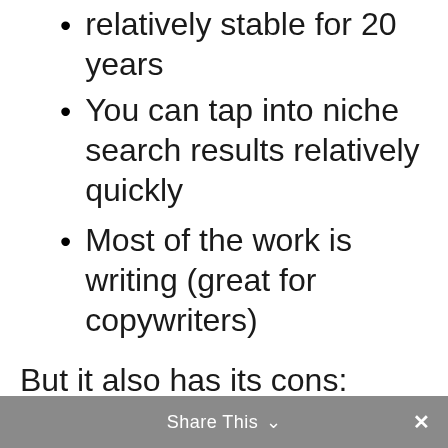relatively stable for 20 years
You can tap into niche search results relatively quickly
Most of the work is writing (great for copywriters)
But it also has its cons:
Requires a range of non-transferable skills to execute effectively
Takes a relatively long time to scale compared to other channels
Google is increasingly stealing traffic away from content
Share This ×